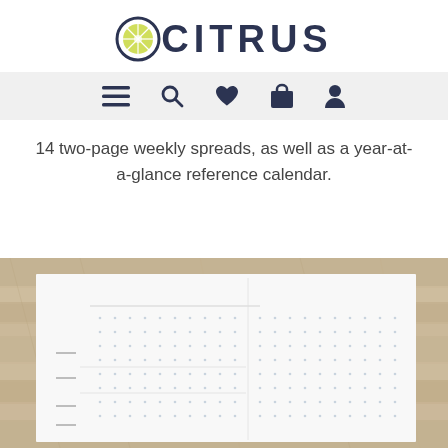OCITRUS
[Figure (screenshot): Navigation bar with hamburger menu, search, heart/wishlist, shopping bag, and user/account icons on a light grey background]
14 two-page weekly spreads, as well as a year-at-a-glance reference calendar.
[Figure (photo): Product photo showing a weekly planner spread on a wooden background, with dotted grid pages and lined sections for days]